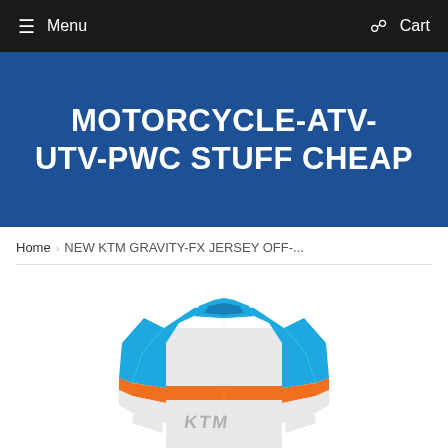Menu  Cart
MOTORCYCLE-ATV-UTV-PWC STUFF CHEAP
Home › NEW KTM GRAVITY-FX JERSEY OFF-...
[Figure (photo): KTM Gravity-FX jersey in blue, white, and orange colorway with KTM logo, partially cropped at bottom of page.]